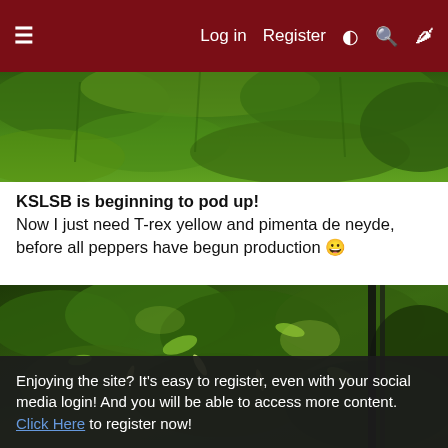≡   Log in   Register   ◑   🔍   🌶
[Figure (photo): Close-up photo of green plant leaves, top portion of a pepper plant post]
KSLSB is beginning to pod up!
Now I just need T-rex yellow and pimenta de neyde, before all peppers have begun production 😀
[Figure (photo): Close-up photo of dense green pepper plant foliage with visible small pods and a black trellis/stake in background]
Enjoying the site? It's easy to register, even with your social media login! And you will be able to access more content. Click Here to register now!